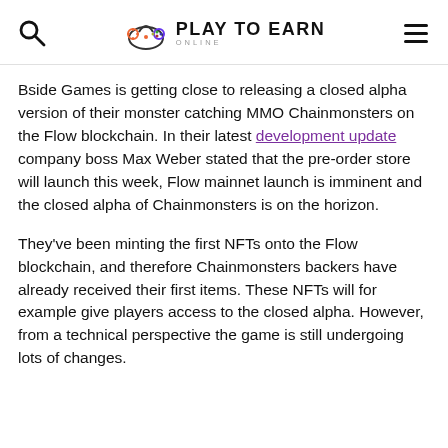Play To Earn Online — site header with search and menu icons
Bside Games is getting close to releasing a closed alpha version of their monster catching MMO Chainmonsters on the Flow blockchain. In their latest development update company boss Max Weber stated that the pre-order store will launch this week, Flow mainnet launch is imminent and the closed alpha of Chainmonsters is on the horizon.
They've been minting the first NFTs onto the Flow blockchain, and therefore Chainmonsters backers have already received their first items. These NFTs will for example give players access to the closed alpha. However, from a technical perspective the game is still undergoing lots of changes.